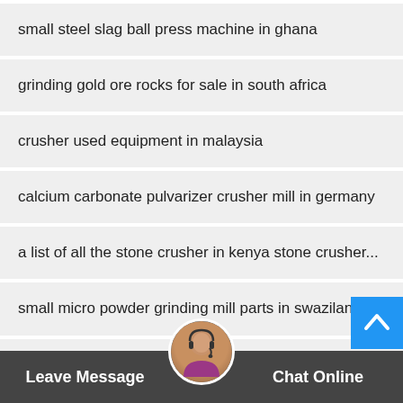small steel slag ball press machine in ghana
grinding gold ore rocks for sale in south africa
crusher used equipment in malaysia
calcium carbonate pulvarizer crusher mill in germany
a list of all the stone crusher in kenya stone crusher...
small micro powder grinding mill parts in swaziland
high quality new salt crusher production line sell in
india small calcium silicate board equipments for sale